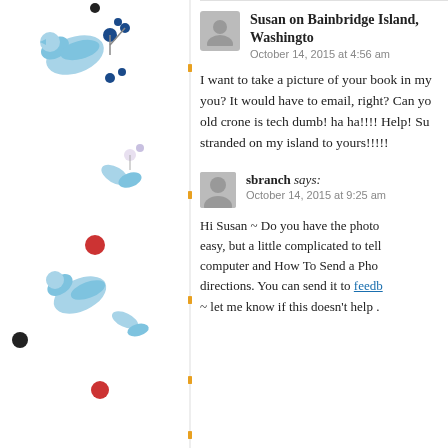[Figure (illustration): Decorative blue floral/bird illustration on left sidebar with orange dot divider line]
Susan on Bainbridge Island, Washington
October 14, 2015 at 4:56 am
I want to take a picture of your book in my... you? It would have to email, right? Can yo... old crone is tech dumb! ha ha!!!! Help! Su... stranded on my island to yours!!!!!
sbranch says:
October 14, 2015 at 9:25 am
Hi Susan ~ Do you have the photo... easy, but a little complicated to tell... computer and How To Send a Pho... directions. You can send it to feedb... ~ let me know if this doesn't help .